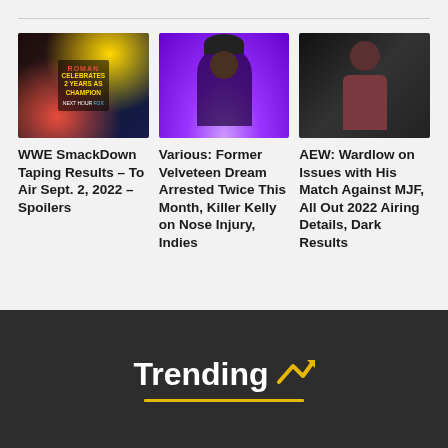[Figure (photo): WWE SmackDown promotional image with Roman Reigns celebrating 2 years as champion, red/gold theme]
WWE SmackDown Taping Results – To Air Sept. 2, 2022 – Spoilers
[Figure (photo): Velveteen Dream performer in purple spotlight wearing hat and vest]
Various: Former Velveteen Dream Arrested Twice This Month, Killer Kelly on Nose Injury, Indies
[Figure (photo): AEW wrestler in dark setting, dark background, wearing casual clothes]
AEW: Wardlow on Issues with His Match Against MJF, All Out 2022 Airing Details, Dark Results
Trending